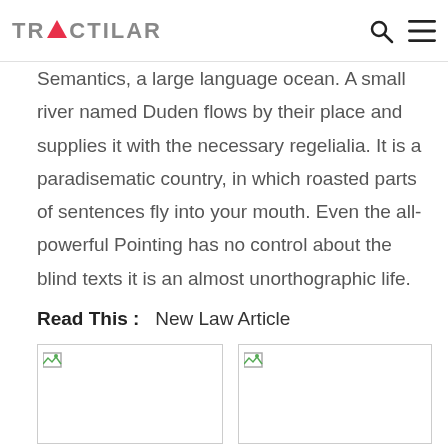TRACTILAR [logo with search and menu icons]
Semantics, a large language ocean. A small river named Duden flows by their place and supplies it with the necessary regelialia. It is a paradisematic country, in which roasted parts of sentences fly into your mouth. Even the all-powerful Pointing has no control about the blind texts it is an almost unorthographic life.
Read This :   New Law Article
[Figure (photo): Broken image placeholder left]
[Figure (photo): Broken image placeholder right]